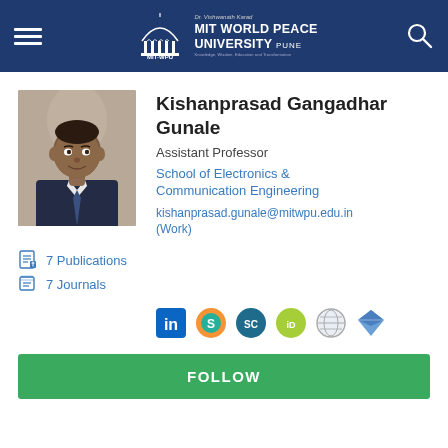[Figure (logo): MIT World Peace University header logo with dome icon and navigation menu]
[Figure (photo): Professional headshot of Kishanprasad Gangadhar Gunale in a suit]
Kishanprasad Gangadhar Gunale
Assistant Professor
School of Electronics & Communication Engineering
kishanprasad.gunale@mitwpu.edu.in (Work)
7 Publications
7 Journals
[Figure (infographic): Social media icon links: LinkedIn, ResearchGate-like, Scopus, ORCID, website globe, and a diamond/gem icon]
FOLLOW